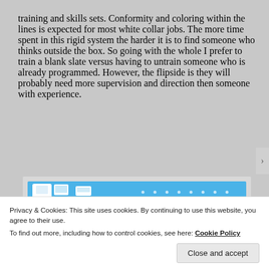training and skills sets. Conformity and coloring within the lines is expected for most white collar jobs. The more time spent in this rigid system the harder it is to find someone who thinks outside the box. So going with the whole I prefer to train a blank slate versus having to untrain someone who is already programmed. However, the flipside is they will probably need more supervision and direction then someone with experience.
[Figure (screenshot): A social media or blog post image strip with a blue banner and small icons/avatars, partially visible.]
Privacy & Cookies: This site uses cookies. By continuing to use this website, you agree to their use.
To find out more, including how to control cookies, see here: Cookie Policy
Close and accept